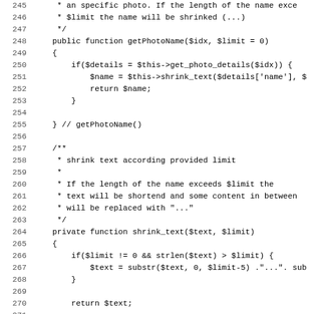Source code listing lines 245-277, PHP code with getPhotoName and shrink_text functions